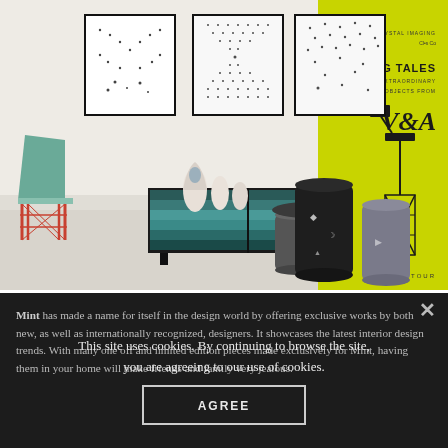[Figure (photo): Interior design showroom photo showing three framed black-and-white geometric artworks on a white wall, a teal/green angular chair on left, a dark sideboard with teal striped drawers in center with ceramic vases on top, various cylindrical drum side tables in dark grey and black, a yellow-green panel on the right with 'TELLING TALES' and 'V&A' text.]
Mint has made a name for itself in the design world by offering exclusive works by both new, as well as internationally recognized, designers. It showcases the latest interior design trends. With many one off and limited edition pieces made exclusively for Mint, having them in your home will make friends and family very jealous.
This site uses cookies. By continuing to browse the site, you are agreeing to our use of cookies.
AGREE